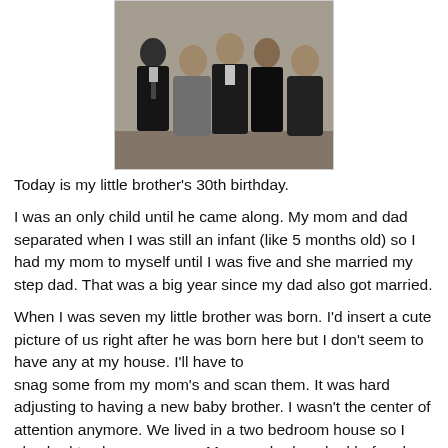[Figure (photo): A group photo of five people posing together, all dressed in dark formal attire, taken indoors. Four males and one female are visible. The photo appears to be a family portrait.]
Today is my little brother's 30th birthday.
I was an only child until he came along. My mom and dad separated when I was still an infant (like 5 months old) so I had my mom to myself until I was five and she married my step dad. That was a big year since my dad also got married.
When I was seven my little brother was born. I'd insert a cute picture of us right after he was born here but I don't seem to have any at my house. I'll have to snag some from my mom's and scan them. It was hard adjusting to having a new baby brother. I wasn't the center of attention anymore. We lived in a two bedroom house so I also had to share my room. My mom had worked before he